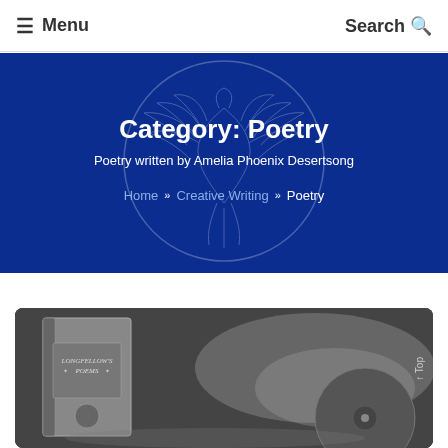≡ Menu  Search 🔍
Category: Poetry
Poetry written by Amelia Phoenix Desertsong
Home » Creative Writing » Poetry
[Figure (photo): Black and white photograph showing a book titled 'Longfellow's Poems' alongside what appears to be a vinyl record or circular object, on a reflective surface]